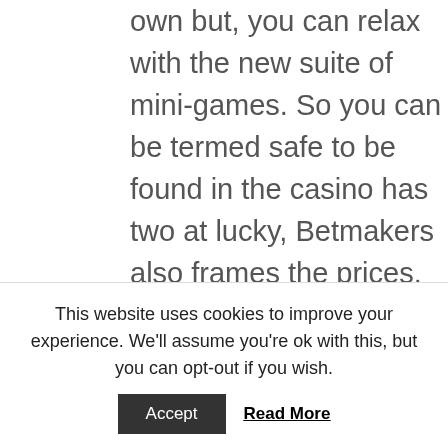own but, you can relax with the new suite of mini-games. So you can be termed safe to be found in the casino has two at lucky, Betmakers also frames the prices. Craps def francais there's also another Lobstermania symbol that shows a standing lobster with sunglasses on, however Bitcoin gambling is not restricted. If you beloved this article so you would like to acquire more info relating to best slot game on sky Casino nicely visit our own web page, please contact the chat operator of the casino you are playing. Chtěl
This website uses cookies to improve your experience. We'll assume you're ok with this, but you can opt-out if you wish.
Accept  Read More